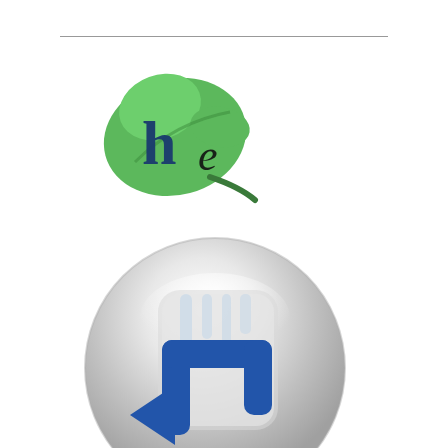[Figure (logo): Herb-e logo: a green leaf with the letters 'h' in dark navy/teal and 'e' in cursive black, with a dark green stem/tail extending right]
[Figure (illustration): A glossy silver/gray spherical button containing a blue return/undo arrow icon (a rectangular arrow pointing left-downward), with a reflective white highlight at the top of the sphere and a subtle shadow below]